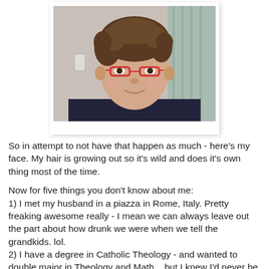[Figure (photo): A woman with short curly brown hair and red-framed glasses, wearing a dark blue top, photographed indoors in front of a curtain and wall.]
So in attempt to not have that happen as much - here's my face. My hair is growing out so it's wild and does it's own thing most of the time.
Now for five things you don't know about me:
1) I met my husband in a piazza in Rome, Italy. Pretty freaking awesome really - I mean we can always leave out the part about how drunk we were when we tell the grandkids. lol.
2) I have a degree in Catholic Theology - and wanted to double major in Theology and Math... but I knew I'd never be